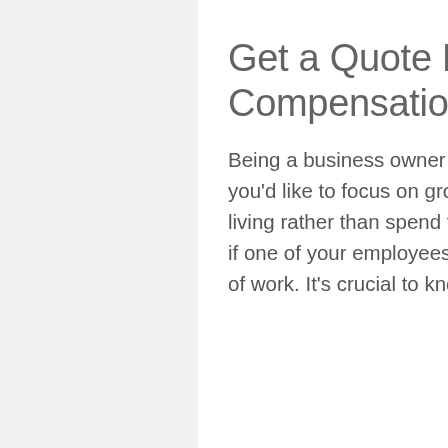Get a Quote For Workers Compensation In Portland, OR
Being a business owner is hard work, and like most owners, you'd like to focus on growing your company and making a nice living rather than spend time worrying about what could happen if one of your employees gets injured or becomes ill as a result of work. It's crucial to know how to cover yourself in the